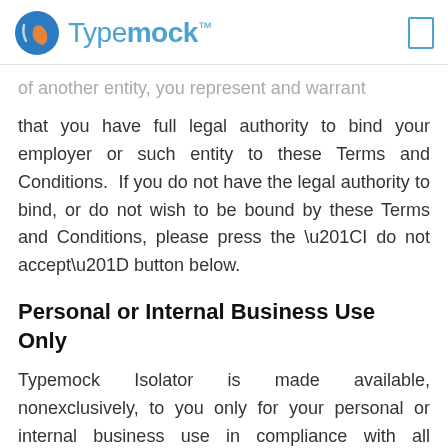Typemock™
of another entity, you represent and warrant that you have full legal authority to bind your employer or such entity to these Terms and Conditions.  If you do not have the legal authority to bind, or do not wish to be bound by these Terms and Conditions, please press the “I do not accept” button below.
Personal or Internal Business Use Only
Typemock Isolator is made available, nonexclusively, to you only for your personal or internal business use in compliance with all applicable laws and regulations which